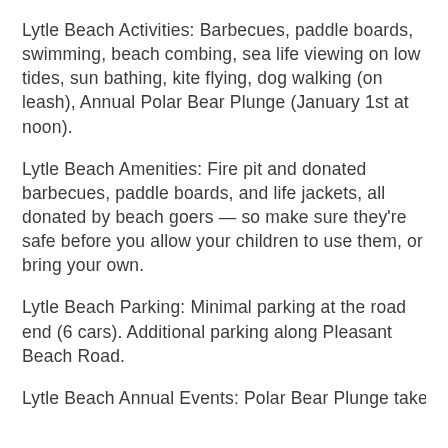Lytle Beach Activities: Barbecues, paddle boards, swimming, beach combing, sea life viewing on low tides, sun bathing, kite flying, dog walking (on leash), Annual Polar Bear Plunge (January 1st at noon).
Lytle Beach Amenities: Fire pit and donated barbecues, paddle boards, and life jackets, all donated by beach goers — so make sure they're safe before you allow your children to use them, or bring your own.
Lytle Beach Parking: Minimal parking at the road end (6 cars). Additional parking along Pleasant Beach Road.
Lytle Beach Annual Events: Polar Bear Plunge take...